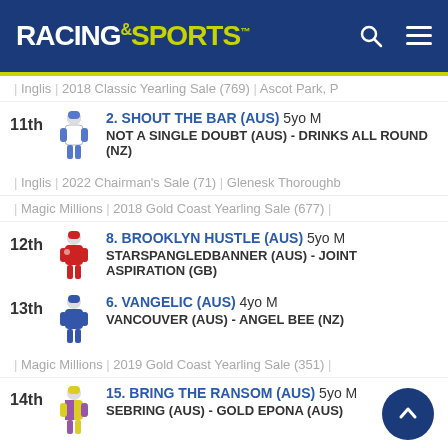RACING AND SPORTS
| Inglis | 2018 Classic Yearling Sale (769) | Ascot Park, P
11th 2. SHOUT THE BAR (AUS) 5yo M NOT A SINGLE DOUBT (AUS) - DRINKS ALL ROUND (NZ)
| Inglis | 2022 Chairman's Sale (71) | Glenesk Thoroughb
| Magic Millions | 2018 Gold Coast Yearling Sale (677) |
12th 8. BROOKLYN HUSTLE (AUS) 5yo M STARSPANGLEDBANNER (AUS) - JOINT ASPIRATION (GB)
13th 6. VANGELIC (AUS) 4yo M VANCOUVER (AUS) - ANGEL BEE (NZ)
| Magic Millions | 2019 Gold Coast Yearling Sale (351) |
14th 15. BRING THE RANSOM (AUS) 5yo M SEBRING (AUS) - GOLD EPONA (AUS)
15th 3. ANNAVISTO (NZ) 4yo M